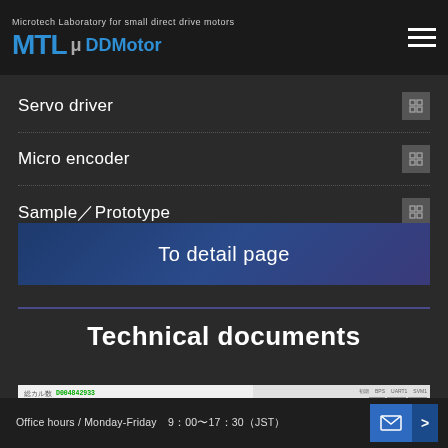Microtech Laboratory for small direct drive motors — MTL μDDMotor
Servo driver
Micro encoder
Sample／Prototype
To detail page
Technical documents
[Figure (screenshot): Screenshot of motor control software showing parameters: 総カル数 D004842933, 総磁速度 808, 総カル率 -0.84/372, 平均カル数 D003394485, 平均速度 444.30 rpm, 平均カル率 D044275, and a control panel with CH, CLR, RST buttons]
Office hours / Monday-Friday　9：00〜17：30（JST）